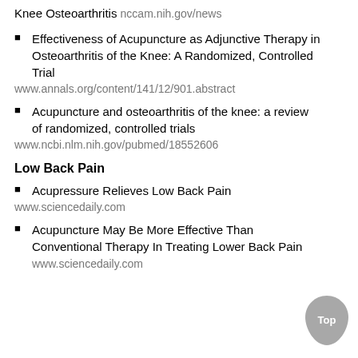Knee Osteoarthritis nccam.nih.gov/news
Effectiveness of Acupuncture as Adjunctive Therapy in Osteoarthritis of the Knee: A Randomized, Controlled Trial
www.annals.org/content/141/12/901.abstract
Acupuncture and osteoarthritis of the knee: a review of randomized, controlled trials
www.ncbi.nlm.nih.gov/pubmed/18552606
Low Back Pain
Acupressure Relieves Low Back Pain
www.sciencedaily.com
Acupuncture May Be More Effective Than Conventional Therapy In Treating Lower Back Pain www.sciencedaily.com